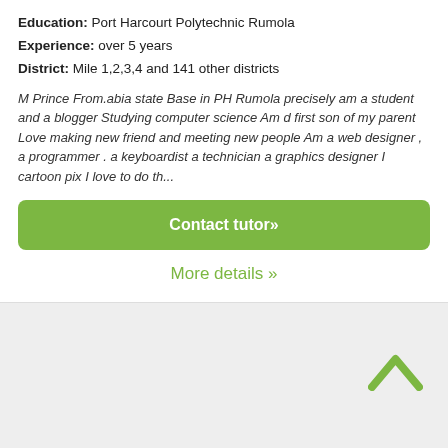Education: Port Harcourt Polytechnic Rumola
Experience: over 5 years
District: Mile 1,2,3,4 and 141 other districts
M Prince From.abia state Base in PH Rumola precisely am a student and a blogger Studying computer science Am d first son of my parent Love making new friend and meeting new people Am a web designer , a programmer . a keyboardist a technician a graphics designer I cartoon pix I love to do th...
Contact tutor»
More details »
[Figure (illustration): Upward chevron/caret arrow icon in green color on grey background]